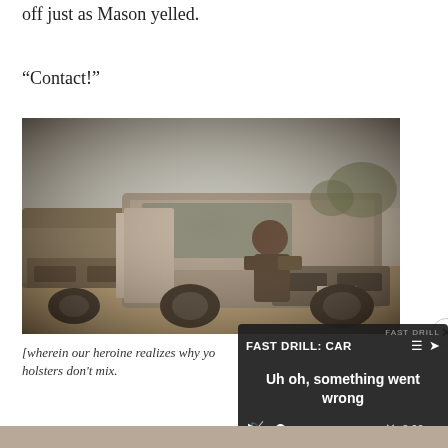off just as Mason yelled.
“Contact!”
[Figure (photo): Sepia-toned photograph of a person crouching behind/beside a silver SUV with the door open, with another vehicle visible on the left, outdoors in a dusty setting.]
[wherein our heroine realizes why yo holsters don't mix.
[Figure (screenshot): Media player overlay showing 'FAST DRILL: CAR' title with error message 'Uh oh, something went wrong', mute icon, play button, progress bar, and 0:00 timestamp.]